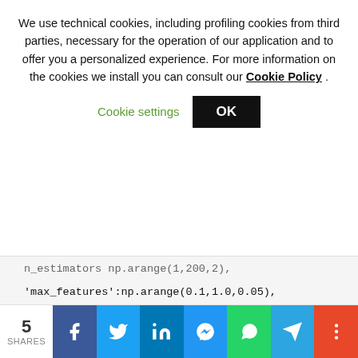We use technical cookies, including profiling cookies from third parties, necessary for the operation of our application and to offer you a personalized experience. For more information on the cookies we install you can consult our Cookie Policy .
Cookie settings  OK
n_estimators np.arange(1,200,2),
'max_features':np.arange(0.1,1.0,0.05),
},cv=5,
scoring="r2",verbose=1,n_jobs=-1,
n_iter=50,
random_state = 0
)
random_search.fit(X_train,y_train)
5 SHARES